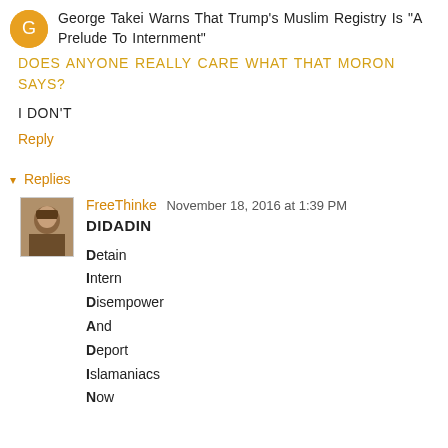George Takei Warns That Trump's Muslim Registry Is "A Prelude To Internment"
DOES ANYONE REALLY CARE WHAT THAT MORON SAYS?
I DON'T
Reply
▾ Replies
FreeThinke November 18, 2016 at 1:39 PM
DIDADIN
Detain
Intern
Disempower
And
Deport
Islamaniacs
Now